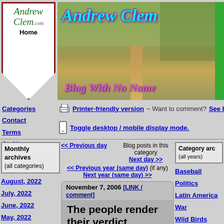[Figure (screenshot): Andrew Clem blog header with logo, countryside road banner image showing 'Andrew Clem' and 'Blog With No Name' text]
Printer-friendly version ~ Want to comment? See below.
Toggle desktop / mobile display mode.
Monthly archives (all categories)
Blog posts in this category Next day >>
Category arc (all years)
August, 2022
July, 2022
June, 2022
May, 2022
April, 2022
March, 2022
February, 2022 X
January, 2022
<< Previous year (same day)  (if any)  Next year (same day) >>
November 7, 2006 [LINK / comment]
The people render their verdict
What will be the dominant narrative that best explains
Baseball
Politics
Latin America
War
Wild Birds
Culture & Travel
Science & Technology